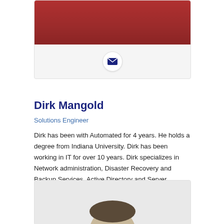[Figure (photo): Top portion of a person's photo (cropped, showing torso/arms area in dark red/maroon top)]
[Figure (illustration): Email envelope icon in a white circle]
Dirk Mangold
Solutions Engineer
Dirk has been with Automated for 4 years. He holds a degree from Indiana University. Dirk has been working in IT for over 10 years. Dirk specializes in Network administration, Disaster Recovery and Backup Services, Active Directory and Server Administration.
[Figure (photo): Bottom portion showing a man with dark short hair, partial head visible, light background]